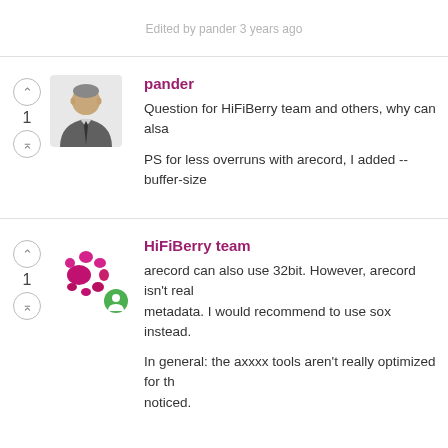Edited by pander 3 years ago
pander
Question for HiFiBerry team and others, why can alsale...
PS for less overruns with arecord, I added --buffer-size...
HiFiBerry team
arecord can also use 32bit. However, arecord isn't real... metadata. I would recommend to use sox instead.
In general: the axxxx tools aren't really optimized for th... noticed.